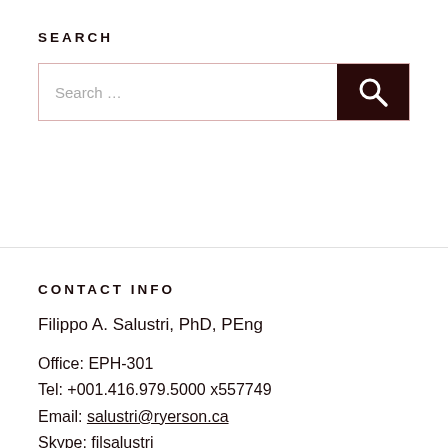SEARCH
[Figure (other): Search input box with dark brown search button containing a magnifying glass icon]
CONTACT INFO
Filippo A. Salustri, PhD, PEng
Office: EPH-301
Tel: +001.416.979.5000 x557749
Email: salustri@ryerson.ca
Skype: filsalustri